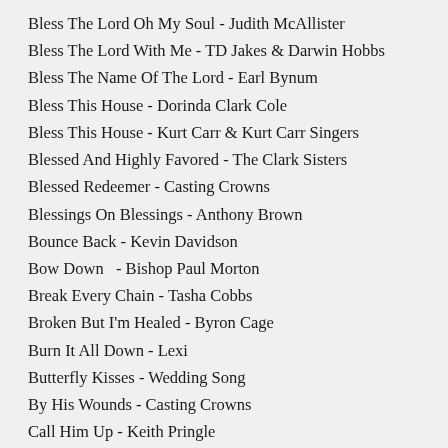Bless The Lord Oh My Soul - Judith McAllister
Bless The Lord With Me - TD Jakes & Darwin Hobbs
Bless The Name Of The Lord - Earl Bynum
Bless This House - Dorinda Clark Cole
Bless This House - Kurt Carr & Kurt Carr Singers
Blessed And Highly Favored - The Clark Sisters
Blessed Redeemer - Casting Crowns
Blessings On Blessings - Anthony Brown
Bounce Back - Kevin Davidson
Bow Down   - Bishop Paul Morton
Break Every Chain - Tasha Cobbs
Broken But I'm Healed - Byron Cage
Burn It All Down - Lexi
Butterfly Kisses - Wedding Song
By His Wounds - Casting Crowns
Call Him Up - Keith Pringle